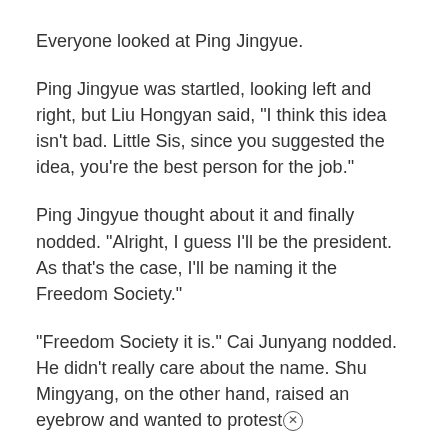Everyone looked at Ping Jingyue.
Ping Jingyue was startled, looking left and right, but Liu Hongyan said, "I think this idea isn't bad. Little Sis, since you suggested the idea, you're the best person for the job."
Ping Jingyue thought about it and finally nodded. "Alright, I guess I'll be the president. As that's the case, I'll be naming it the Freedom Society."
"Freedom Society it is." Cai Junyang nodded. He didn't really care about the name. Shu Mingyang, on the other hand, raised an eyebrow and wanted to protest×